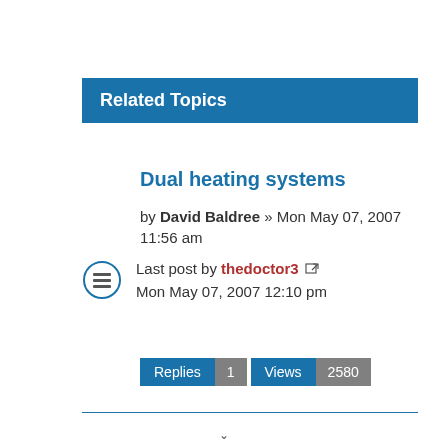Related Topics
Dual heating systems
by David Baldree » Mon May 07, 2007 11:56 am
Last post by thedoctor3 Mon May 07, 2007 12:10 pm
Replies 1 Views 2580